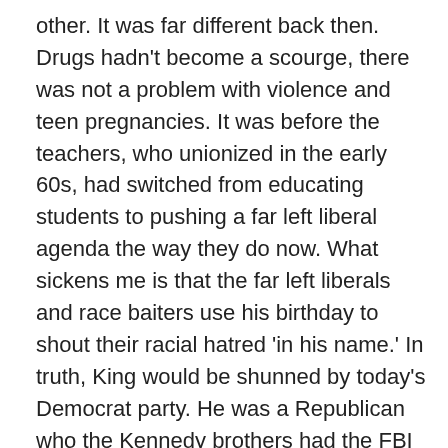other. It was far different back then. Drugs hadn't become a scourge, there was not a problem with violence and teen pregnancies. It was before the teachers, who unionized in the early 60s, had switched from educating students to pushing a far left liberal agenda the way they do now. What sickens me is that the far left liberals and race baiters use his birthday to shout their racial hatred 'in his name.' In truth, King would be shunned by today's Democrat party. He was a Republican who the Kennedy brothers had the FBI wiretap. He was not perfect. There was talk about him having extramarital affairs. A lot of people did, but it was not widely heard about thanks to the fact there was no alternative to the leftist media. He preached pacifism and nonviolence but it seemed to follow wherever he went. White supremacy was much more pronounced then, especially in the South. Those